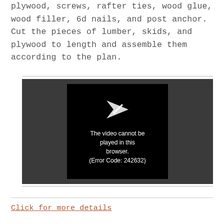plywood, screws, rafter ties, wood glue, wood filler, 6d nails, and post anchor. Cut the pieces of lumber, skids, and plywood to length and assemble them according to the plan.
[Figure (screenshot): Video player showing error message: 'The video cannot be played in this browser. (Error Code: 242632)' with a play/send icon above the text, on a dark background.]
Click for more details